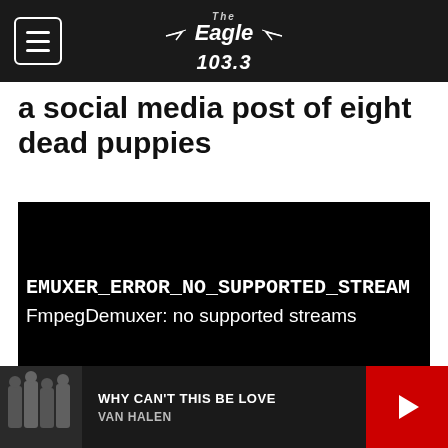The Eagle 103.3
a social media post of eight dead puppies
[Figure (screenshot): Black video player area showing error message: EMUXER_ERROR_NO_SUPPORTED_STREAM / FmpegDemuxer: no supported streams]
WHY CAN'T THIS BE LOVE
VAN HALEN